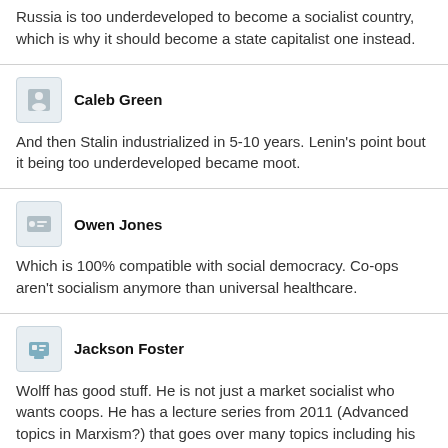Russia is too underdeveloped to become a socialist country, which is why it should become a state capitalist one instead.
Caleb Green
And then Stalin industrialized in 5-10 years. Lenin's point bout it being too underdeveloped became moot.
Owen Jones
Which is 100% compatible with social democracy. Co-ops aren't socialism anymore than universal healthcare.
Jackson Foster
Wolff has good stuff. He is not just a market socialist who wants coops. He has a lecture series from 2011 (Advanced topics in Marxism?) that goes over many topics including his take on the USSR and marxist analysis of family structure. On the topic of famines in